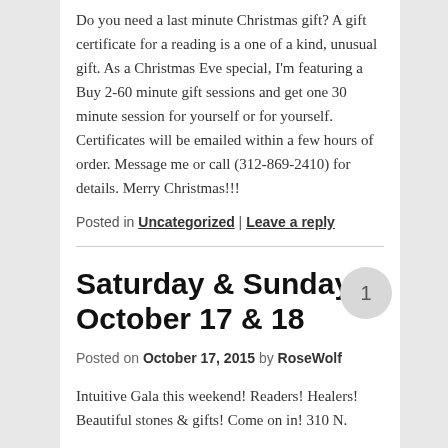Do you need a last minute Christmas gift? A gift certificate for a reading is a one of a kind, unusual gift. As a Christmas Eve special, I'm featuring a Buy 2-60 minute gift sessions and get one 30 minute session for yourself or for yourself. Certificates will be emailed within a few hours of order. Message me or call (312-869-2410) for details. Merry Christmas!!!
Posted in Uncategorized | Leave a reply
Saturday & Sunday October 17 & 18
Posted on October 17, 2015 by RoseWolf
Intuitive Gala this weekend! Readers! Healers! Beautiful stones & gifts! Come on in! 310 N.